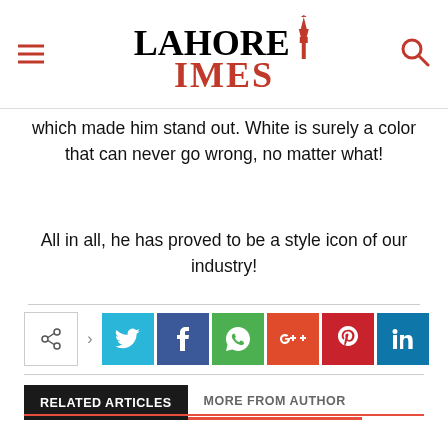LAHORE TIMES
which made him stand out. White is surely a color that can never go wrong, no matter what!
All in all, he has proved to be a style icon of our industry!
[Figure (infographic): Social media share buttons: Twitter (light blue), Facebook (dark blue), WhatsApp (green), Google+ (red-orange), Pinterest (red), LinkedIn (dark blue). Share icon with arrow on left.]
RELATED ARTICLES
MORE FROM AUTHOR